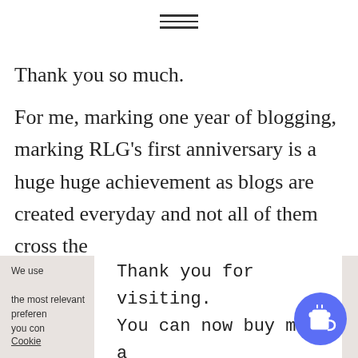≡ (hamburger menu icon)
Thank you so much.
For me, marking one year of blogging, marking RLG's first anniversary is a huge huge achievement as blogs are created everyday and not all of them cross the 1 year milestone. Blogging is a
We use cookies on our website to give you the most relevant experience by remembering your preferences and repeat visits. By clicking "Accept", you con…
Cookie
Thank you for visiting. You can now buy me a coffee!